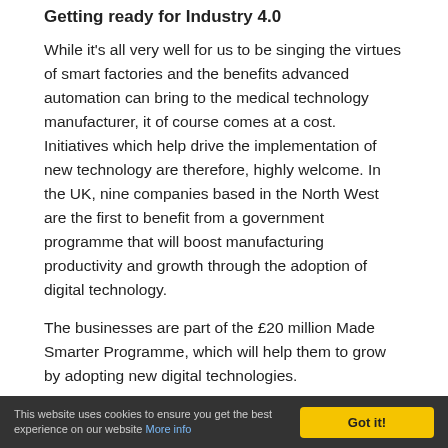Getting ready for Industry 4.0
While it's all very well for us to be singing the virtues of smart factories and the benefits advanced automation can bring to the medical technology manufacturer, it of course comes at a cost. Initiatives which help drive the implementation of new technology are therefore, highly welcome. In the UK, nine companies based in the North West are the first to benefit from a government programme that will boost manufacturing productivity and growth through the adoption of digital technology.
The businesses are part of the £20 million Made Smarter Programme, which will help them to grow by adopting new digital technologies.
Based in Greater Manchester, Cheshire, Lancashire and the Liverpool City Region, the companies are set to introduce 12 advanced manufacturing methods including Artificial…
This website uses cookies to ensure you get the best experience on our website More info    Got it!